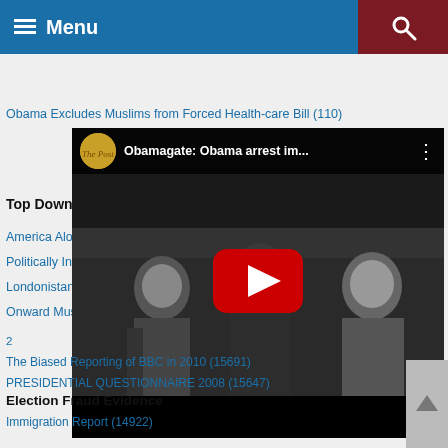Menu
Obama Excludes Muslims from Forced Health-care Bill (110)
[Figure (screenshot): YouTube video thumbnail showing 'Obamagate: Obama arrest im...' with three men in suits walking, a large YouTube play button overlay in red and white.]
Top Downloads
America Alone (33763)
Politically Incorrect Guide to Islam (28199)
Londonistan (23480)
Onward Muslim Soldiers (20731)
2
The Biased Reporting of BBC in 2010 (15691)
PRESIDENTIAL QUESTIONNAIRE 2008 (15647)
Election Fraud Evidence
Immigration Report (14922)